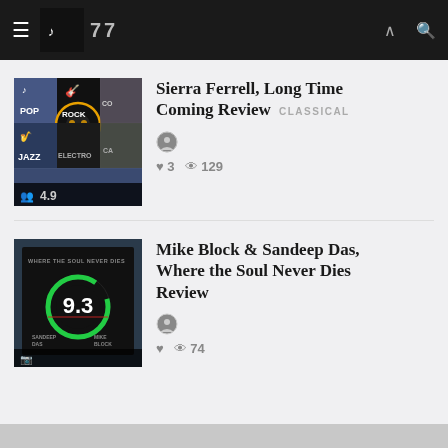≡  77  ∧  🔍
[Figure (screenshot): Music genre grid thumbnail showing POP, ROCK, COUNTRY, JAZZ, ELECTRONIC, CA genres with icons and a 4.9 rating]
Sierra Ferrell, Long Time Coming Review
♥ 3   👁 129   CLASSICAL
[Figure (screenshot): Album review score card showing 9.3 score in a green circle gauge for Mike Block & Sandeep Das, Where the Soul Never Dies]
Mike Block & Sandeep Das, Where the Soul Never Dies Review
♥   👁 74